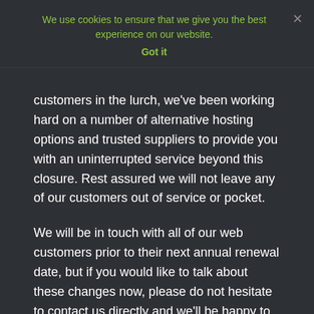We use cookies to ensure that we give you the best experience on our website.
Got it
customers in the lurch, we've been working hard on a number of alternative hosting options and trusted suppliers to provide you with an uninterrupted service beyond this closure. Rest assured we will not leave any of our customers out of service or pocket.
We will be in touch with all of our web customers prior to their next annual renewal date, but if you would like to talk about these changes now, please do not hesitate to contact us directly and we'll be happy to chat with you.
—
The longer version of what is happening:
You might already be aware of our sister company @makocreateuk, which specialises in delivering